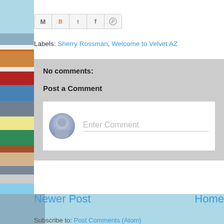[Figure (screenshot): Row of social sharing icon buttons: Gmail (M), Blogger (B), Twitter (t), Facebook (f), Pinterest (circle with P)]
Labels: Sherry Rossman, Welcome to Velvet AZ
No comments:
Post a Comment
[Figure (screenshot): Comment input area with a default user avatar on the left and placeholder text 'Enter Comment' on the right with an underline]
Newer Post
Home
Subscribe to: Post Comments (Atom)